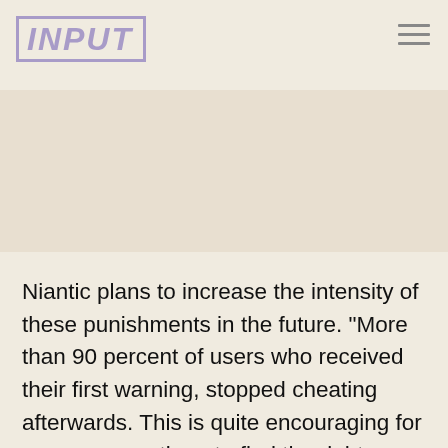INPUT
[Figure (photo): Large image area placeholder, light beige/tan background, no visible image content]
Niantic plans to increase the intensity of these punishments in the future. "More than 90 percent of users who received their first warning, stopped cheating afterwards. This is quite encouraging for us, as we continue to find the right balance between punishing casual cheaters versus the more egregious ones," the company officially stated.